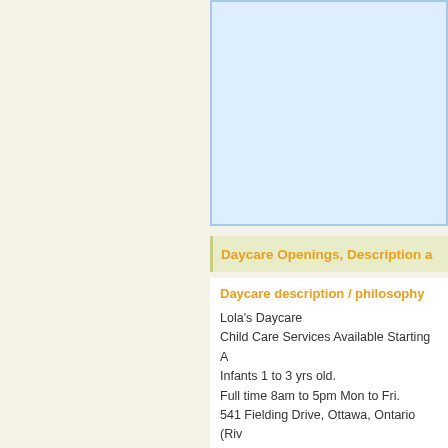[Figure (other): Light blue rectangular box with blue border, partially visible on the right side of the page]
Daycare Openings, Description a
Daycare description / philosophy
Lola's Daycare
Child Care Services Available Starting A
Infants 1 to 3 yrs old.
Full time 8am to 5pm Mon to Fri.
541 Fielding Drive, Ottawa, Ontario (Riv
close to Hunt Club.
For more Info please call Lola at 613-32